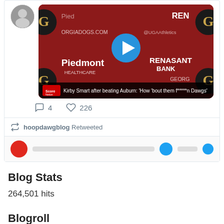[Figure (screenshot): Screenshot of a tweet showing a video thumbnail of Kirby Smart after beating Auburn press conference. The video thumbnail shows a red background with UGA and sponsor logos, a person in a Georgia visor, and a play button overlay. Caption bar reads: 'Kirby Smart after beating Auburn: How 'bout them f*****n Dawgs'. Below the video: reply icon with 4, heart icon with 226. A retweet bar shows 'hoopdawgblog Retweeted'. Bottom row shows partial avatars and Twitter bird icons.]
Blog Stats
264,501 hits
Blogroll